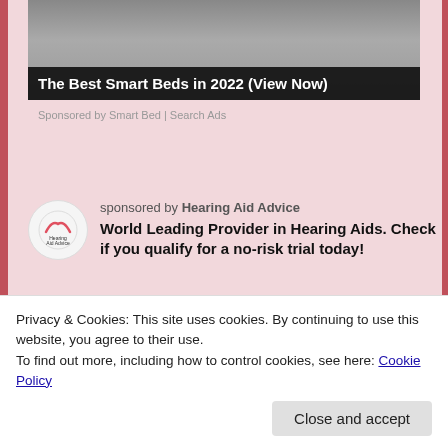[Figure (screenshot): Top advertisement banner showing 'The Best Smart Beds in 2022 (View Now)' with dark overlay text on a gray background image]
Sponsored by Smart Bed | Search Ads
[Figure (infographic): Hearing Aid Advice logo — circular white logo with rainbow arc and text]
sponsored by Hearing Aid Advice
World Leading Provider in Hearing Aids. Check if you qualify for a no-risk trial today!
[Figure (photo): Close-up photo of hands holding small hearing aids]
[Figure (photo): Partial photo of an elderly person's head/ear area]
Privacy & Cookies: This site uses cookies. By continuing to use this website, you agree to their use.
To find out more, including how to control cookies, see here: Cookie Policy
Close and accept